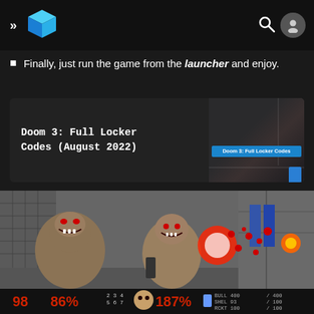>> [logo] [search icon] [account icon]
Finally, just run the game from the launcher and enjoy.
[Figure (screenshot): Card showing 'Doom 3: Full Locker Codes (August 2022)' with a thumbnail of Doom 3 gameplay on the right with an overlay label 'Doom 3: Full Locker Codes']
[Figure (screenshot): Doom (classic) gameplay screenshot showing pinky demons charging the player, with HUD showing health 98, armor 86%, ammo slots 2-7, health face, 187% ammo, and BULL/SHEL/RCKT counts]